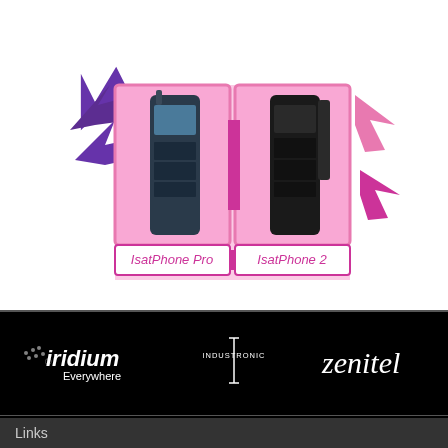[Figure (infographic): Two satellite phones shown side by side: IsatPhone Pro (left) and IsatPhone 2 (right), displayed in pink-bordered boxes with magenta/purple arrow decorations pointing outward from both sides.]
[Figure (logo): Iridium Everywhere logo in white on black background]
[Figure (logo): Industronic logo in white on black background]
[Figure (logo): Zenitel logo in white italic on black background]
Links